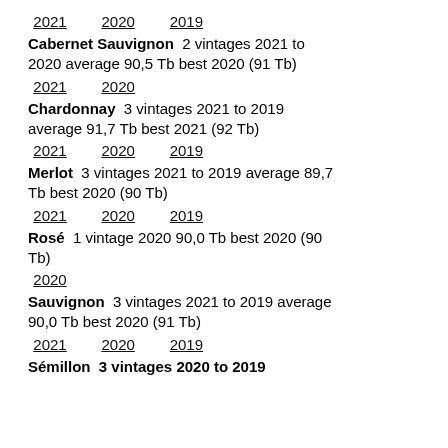2021   2020   2019
Cabernet Sauvignon   2 vintages 2021 to 2020 average 90,5 Tb best 2020 (91 Tb)
2021   2020
Chardonnay   3 vintages 2021 to 2019 average 91,7 Tb best 2021 (92 Tb)
2021   2020   2019
Merlot   3 vintages 2021 to 2019 average 89,7 Tb best 2020 (90 Tb)
2021   2020   2019
Rosé   1 vintage 2020 90,0 Tb best 2020 (90 Tb)
2020
Sauvignon   3 vintages 2021 to 2019 average 90,0 Tb best 2020 (91 Tb)
2021   2020   2019